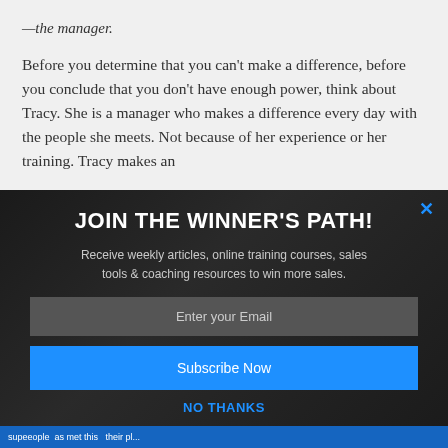—the manager.
Before you determine that you can't make a difference, before you conclude that you don't have enough power, think about Tracy. She is a manager who makes a difference every day with the people she meets. Not because of her experience or her training. Tracy makes an
[Figure (screenshot): Dark overlay popup with title 'JOIN THE WINNER'S PATH!', subtitle text about receiving weekly articles and training courses, an email input field, a blue Subscribe Now button, and a blue 'NO THANKS' link. A close X button appears top right in blue.]
supeeople as met this their pl...